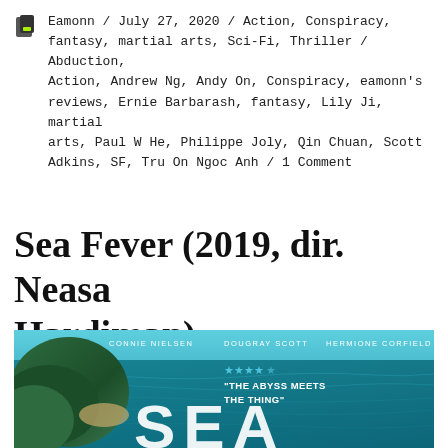Eamonn / July 27, 2020 / Action, Conspiracy, fantasy, martial arts, Sci-Fi, Thriller / Abduction, Action, Andrew Ng, Andy On, Conspiracy, eamonn's reviews, Ernie Barbarash, fantasy, Lily Ji, martial arts, Paul W He, Philippe Joly, Qin Chuan, Scott Adkins, SF, Tru On Ngoc Anh / 1 Comment
Sea Fever (2019, dir. Neasa Hardiman)
[Figure (photo): Movie poster for Sea Fever showing aerial view of ocean and island with text: CONNIE NIELSEN, DOUGRAY SCOTT, HERMIONE CORFIELD, stars rating, 'THE ABYSS MEETS THE THING', and large text SEA at bottom]